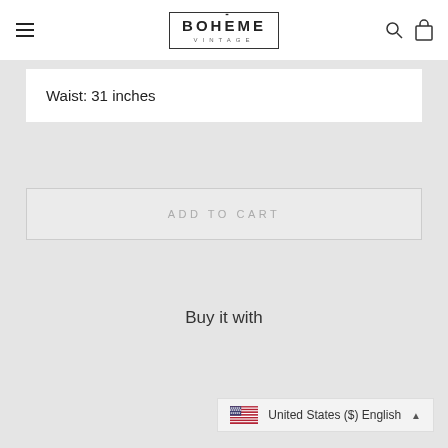BOHÈME VINTAGE
Waist: 31 inches
ADD TO CART
Buy it with
United States ($) English